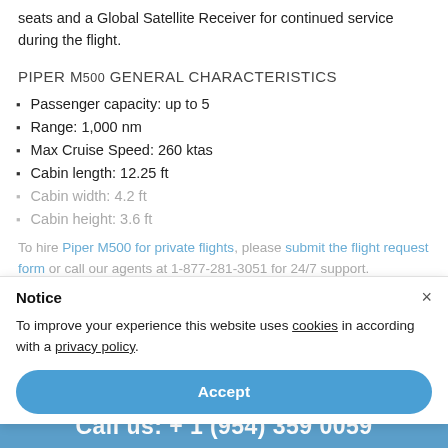seats and a Global Satellite Receiver for continued service during the flight.
PIPER M500 GENERAL CHARACTERISTICS
Passenger capacity: up to 5
Range: 1,000 nm
Max Cruise Speed: 260 ktas
Cabin length: 12.25 ft
Cabin width: 4.2 ft
Cabin height: 3.6 ft
To hire Piper M500 for private flights, please submit the flight request form or call our agents at 1-877-281-3051 for 24/7 support.
Notice
To improve your experience this website uses cookies in according with a privacy policy.
Accept
PRIVATE JETS   TAGS: PRIVATE JET; PIPER M500
Learn more and customize
Call us: + 1 (954) 359 0059